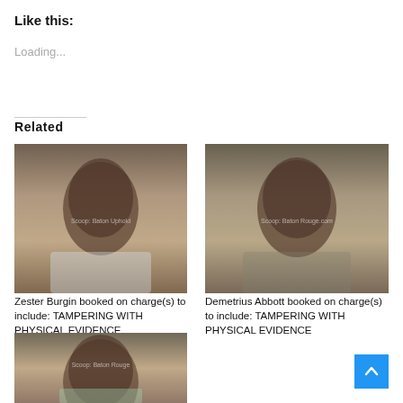Like this:
Loading...
Related
[Figure (photo): Mugshot photo of Zester Burgin with watermark]
Zester Burgin booked on charge(s) to include: TAMPERING WITH PHYSICAL EVIDENCE
[Figure (photo): Mugshot photo of Demetrius Abbott with watermark]
Demetrius Abbott booked on charge(s) to include: TAMPERING WITH PHYSICAL EVIDENCE
[Figure (photo): Mugshot photo of a third individual with watermark, partially visible]